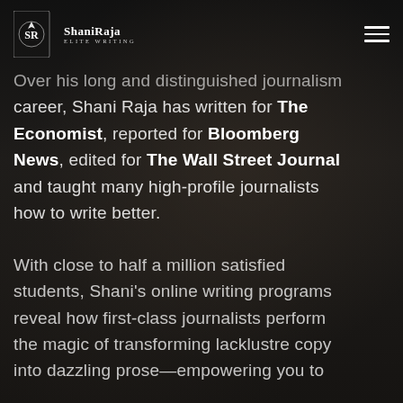ShaniRaja Elite Writing
Over his long and distinguished journalism career, Shani Raja has written for The Economist, reported for Bloomberg News, edited for The Wall Street Journal and taught many high-profile journalists how to write better.
With close to half a million satisfied students, Shani's online writing programs reveal how first-class journalists perform the magic of transforming lacklustre copy into dazzling prose—empowering you to